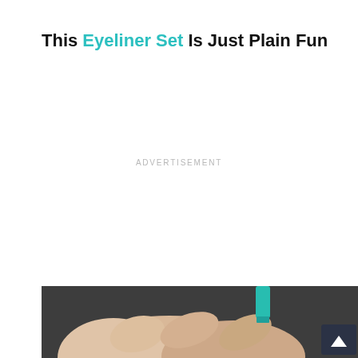This Eyeliner Set Is Just Plain Fun
ADVERTISEMENT
[Figure (photo): Close-up photo of a hand holding a teal/turquoise eyeliner pencil against a dark background, partially visible at the bottom of the page. A scroll/chevron button is visible in the bottom right corner.]